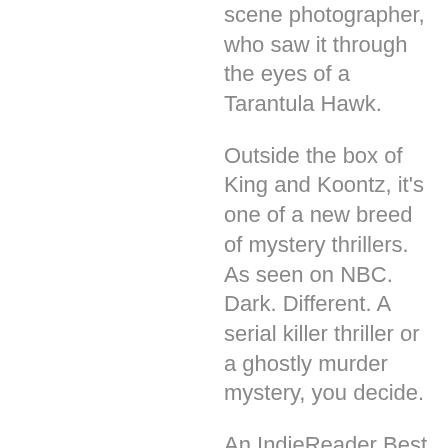scene photographer, who saw it through the eyes of a Tarantula Hawk.
Outside the box of King and Koontz, it's one of a new breed of mystery thrillers. As seen on NBC. Dark. Different. A serial killer thriller or a ghostly murder mystery, you decide.
An IndieReader Best Book of the year, with action and characters you won't soon forget, it's one